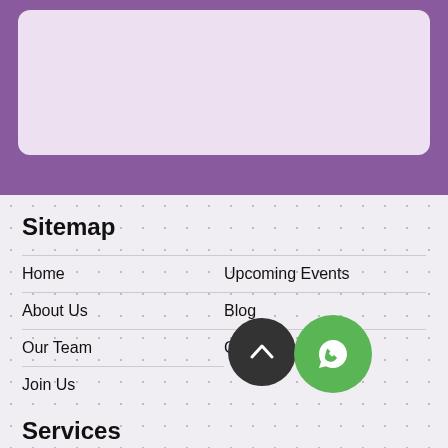[Figure (other): Light purple rounded rectangle box on purple background bar at top of page]
Sitemap
Home
Upcoming Events
About Us
Blog
Our Team
Contact Us
Join Us
Services
Physical Therapy
Speech and Language Therapy
Hydrotherapy Visiting Intensives
Occupational Therapy
Expert Advice
Telesessions
[Figure (other): Dark circular scroll-to-top button with chevron up arrow, and green circular WhatsApp button with phone icon]